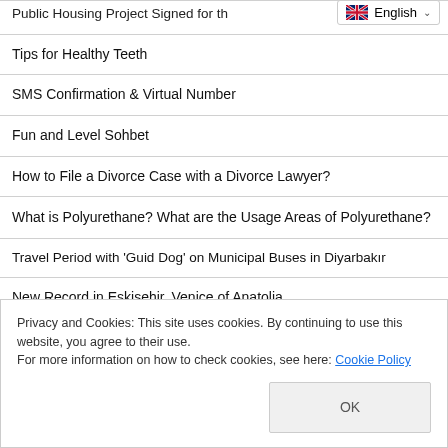Public Housing Project Signed for th…
Tips for Healthy Teeth
SMS Confirmation & Virtual Number
Fun and Level Sohbet
How to File a Divorce Case with a Divorce Lawyer?
What is Polyurethane? What are the Usage Areas of Polyurethane?
Travel Period with 'Guid Dog' on Municipal Buses in Diyarbakır
New Record in Eskişehir, Venice of Anatolia
Çatalhöyük Will Become an Important Brand in the World
Privacy and Cookies: This site uses cookies. By continuing to use this website, you agree to their use.
For more information on how to check cookies, see here: Cookie Policy